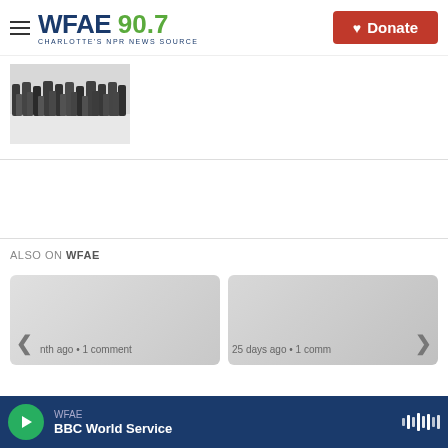WFAE 90.7 Charlotte's NPR News Source — Donate
[Figure (photo): A crowd of people standing in snow, photographed from slight distance showing many figures in winter clothing]
[Figure (screenshot): Also On WFAE section showing two article cards with navigation arrows. Left card: 'nth ago • 1 comment'. Right card: '25 days ago • 1 comm']
WFAE — BBC World Service (audio player bar)